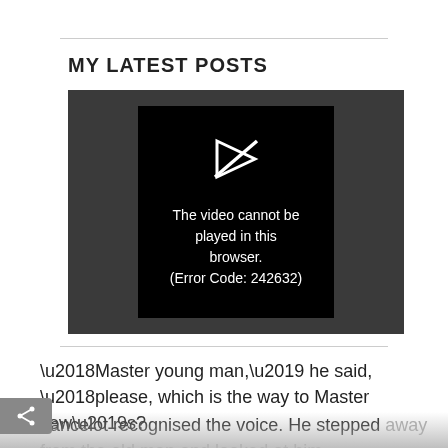MY LATEST POSTS
[Figure (screenshot): Video player showing error message: 'The video cannot be played in this browser. (Error Code: 242632)' with a play icon on a black background inside a dark gray container.]
‘Master young man,’ he said, ‘please, which is the way to Master Jew’s?
Lancelot recognised the voice. He stepped away from the old man and looked at him. Good heavens, it was his own father! He was